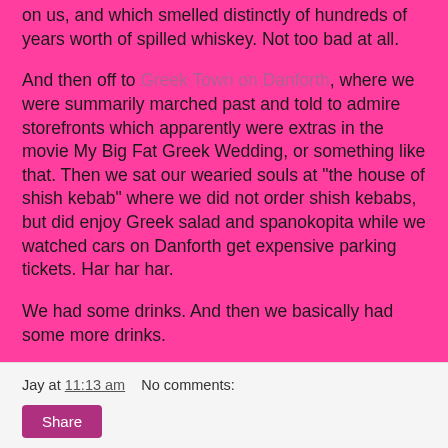on us, and which smelled distinctly of hundreds of years worth of spilled whiskey. Not too bad at all.
And then off to Greek Town on Danforth, where we were summarily marched past and told to admire storefronts which apparently were extras in the movie My Big Fat Greek Wedding, or something like that. Then we sat our wearied souls at "the house of shish kebab" where we did not order shish kebabs, but did enjoy Greek salad and spanokopita while we watched cars on Danforth get expensive parking tickets. Har har har.
We had some drinks. And then we basically had some more drinks.
The good news is, we did get home, and safely. And a bit sunburned.
Jay at 11:13 am    No comments:    Share